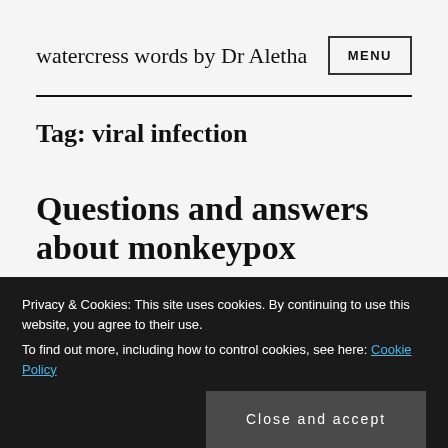watercress words by Dr Aletha
Tag: viral infection
Questions and answers about monkeypox
Privacy & Cookies: This site uses cookies. By continuing to use this website, you agree to their use. To find out more, including how to control cookies, see here: Cookie Policy
Close and accept